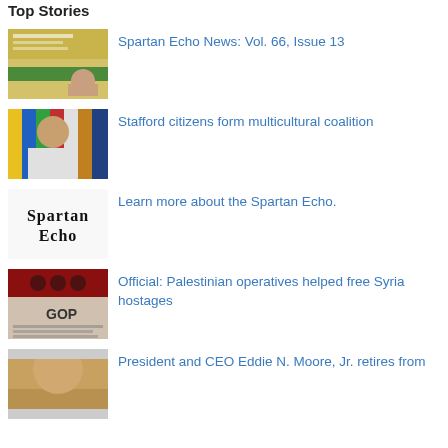Top Stories
[Figure (photo): Thumbnail image of Spartan Echo newspaper front page]
Spartan Echo News: Vol. 66, Issue 13
[Figure (photo): Photo of a smiling man in front of colorful flags]
Stafford citizens form multicultural coalition
[Figure (logo): Spartan Echo newspaper logo in old English blackletter font]
Learn more about the Spartan Echo.
[Figure (photo): Thumbnail of a newspaper front page about Palestinian operatives]
Official: Palestinian operatives helped free Syria hostages
[Figure (photo): Partial photo of a person's face]
President and CEO Eddie N. Moore, Jr. retires from